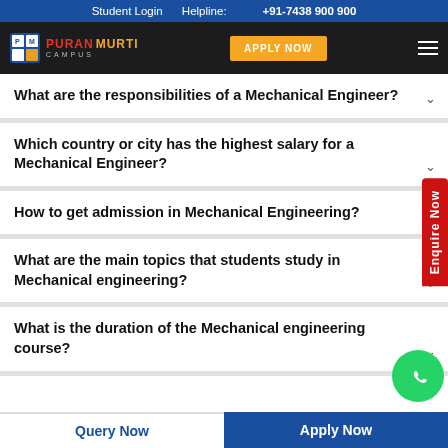Student Login   Helpline: +91-7438 900 900
[Figure (logo): Puran Murti Campus logo with navigation bar including Apply Now button and hamburger menu]
What are the responsibilities of a Mechanical Engineer?
Which country or city has the highest salary for a Mechanical Engineer?
How to get admission in Mechanical Engineering?
What are the main topics that students study in Mechanical engineering?
What is the duration of the Mechanical engineering course?
Query Now   Apply Now